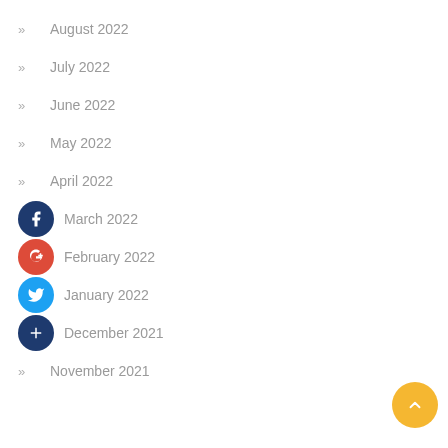August 2022
July 2022
June 2022
May 2022
April 2022
March 2022
February 2022
January 2022
December 2021
November 2021
[Figure (illustration): Yellow scroll-to-top circular button with upward arrow]